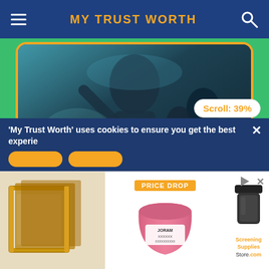MY TRUST WORTH
[Figure (photo): Movie poster for Anamika showing a female figure in action pose with other characters in dark teal-toned background]
Anamika - HINDI
[Figure (photo): Netflix logo on dark background with industrial/urban scenery]
Scroll: 39%
'My Trust Worth' uses cookies to ensure you get the best experience
[Figure (screenshot): Advertisement banner showing screen printing frames, a pink bucket with PRICE DROP label, a dark jar product, and Screening Supplies Store.com branding]